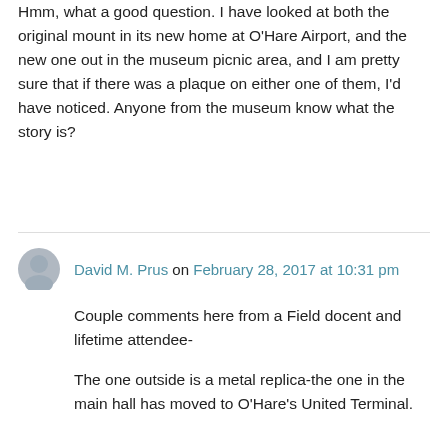Hmm, what a good question. I have looked at both the original mount in its new home at O'Hare Airport, and the new one out in the museum picnic area, and I am pretty sure that if there was a plaque on either one of them, I'd have noticed. Anyone from the museum know what the story is?
David M. Prus on February 28, 2017 at 10:31 pm
Couple comments here from a Field docent and lifetime attendee-
The one outside is a metal replica-the one in the main hall has moved to O'Hare's United Terminal.